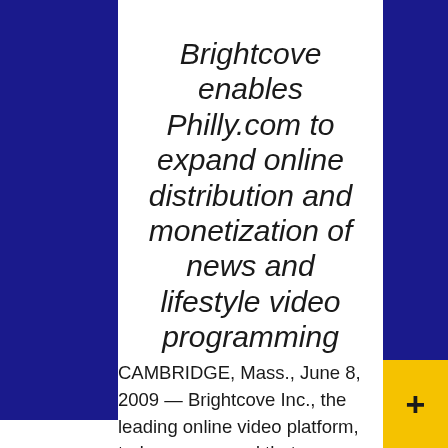Brightcove enables Philly.com to expand online distribution and monetization of news and lifestyle video programming
CAMBRIDGE, Mass., June 8, 2009 — Brightcove Inc., the leading online video platform, today announced that Philly.com has chosen the Brightcove platform to publish and distribute video for its site, the flagship Web property for the Philadelphia Inquirer, one of the highest circulation newspapers in the U.S., and the Philadelphia Daily News, the Philadelphia area's leading tabloid